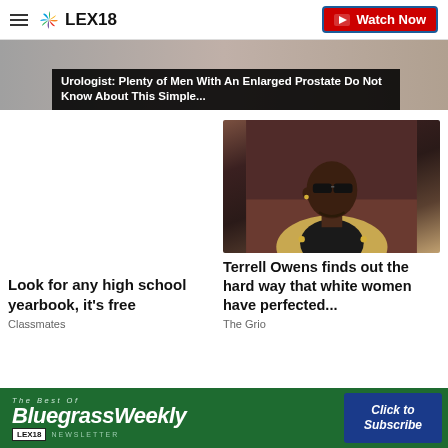LEX18 | Watch Now
[Figure (screenshot): Partial image banner with dark overlay text: Urologist: Plenty of Men With An Enlarged Prostate Do Not Know About This Simple...]
Urologist: Plenty of Men With An Enlarged Prostate Do Not Know About This Simple...
[Figure (photo): Photo of Terrell Owens wearing sunglasses and a gold/tan blazer]
Look for any high school yearbook, it's free
Classmates
Terrell Owens finds out the hard way that white women have perfected...
The Grio
[Figure (screenshot): Bluegrass Weekly Newsletter advertisement banner: The Best Of Bluegrass Weekly LEX18 Newsletter | Click to Subscribe]